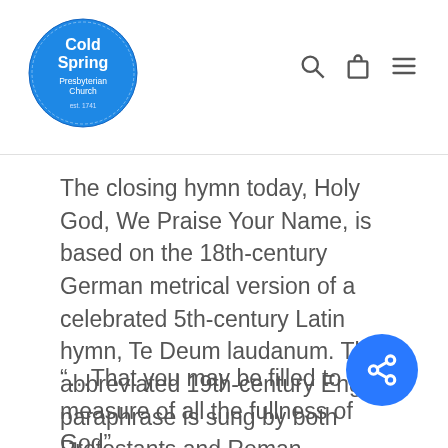[Figure (logo): Cold Spring Presbyterian Church circular blue logo with white text]
The closing hymn today, Holy God, We Praise Your Name, is based on the 18th-century German metrical version of a celebrated 5th-century Latin hymn, Te Deum laudanum. This abbreviated 19th-century English paraphrase is sung by both Protestants and Roman Catholics. It is set here to the tune composed and named for the German version.
“…That you may be filled to the measure of all the fullness of God”